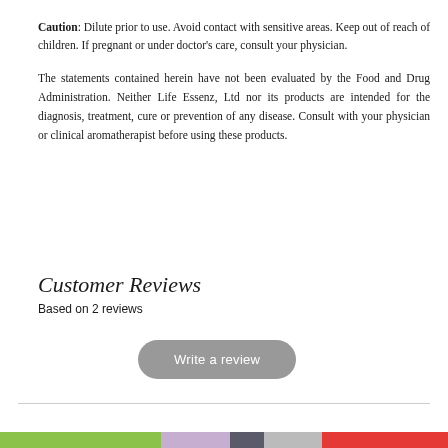Caution: Dilute prior to use. Avoid contact with sensitive areas. Keep out of reach of children. If pregnant or under doctor's care, consult your physician.
The statements contained herein have not been evaluated by the Food and Drug Administration. Neither Life Essenz, Ltd nor its products are intended for the diagnosis, treatment, cure or prevention of any disease. Consult with your physician or clinical aromatherapist before using these products.
Customer Reviews
Based on 2 reviews
Write a review